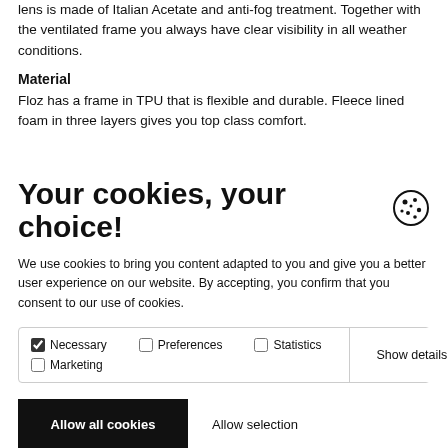lens is made of Italian Acetate and anti-fog treatment. Together with the ventilated frame you always have clear visibility in all weather conditions.
Material
Floz has a frame in TPU that is flexible and durable. Fleece lined foam in three layers gives you top class comfort.
Your cookies, your choice!
We use cookies to bring you content adapted to you and give you a better user experience on our website. By accepting, you confirm that you consent to our use of cookies.
Necessary [checked] | Preferences [unchecked] | Statistics [unchecked] | Marketing [unchecked] | Show details
Allow all cookies   Allow selection